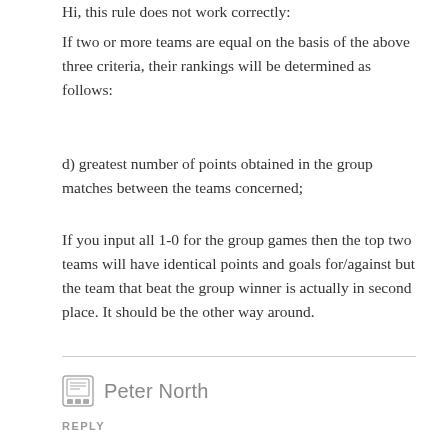Hi, this rule does not work correctly:
If two or more teams are equal on the basis of the above three criteria, their rankings will be determined as follows:
d) greatest number of points obtained in the group matches between the teams concerned;
If you input all 1-0 for the group games then the top two teams will have identical points and goals for/against but the team that beat the group winner is actually in second place. It should be the other way around.
Peter North
REPLY